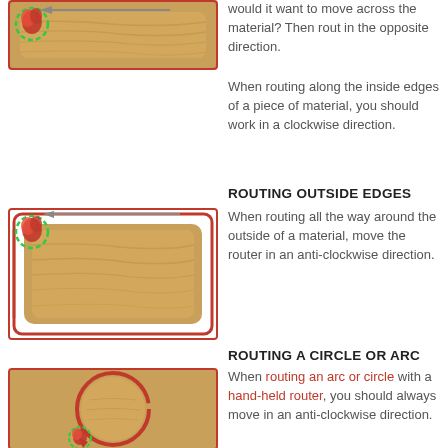[Figure (illustration): Router bit illustration with green circle at top-left corner of a wood board, red arrow pointing left along the top edge, indicating routing direction along inside edge]
would it want to move across the material? Then rout in the opposite direction.
When routing along the inside edges of a piece of material, you should work in a clockwise direction.
ROUTING OUTSIDE EDGES
[Figure (illustration): Router bit illustration with green circle at top-left corner of a wood board, red arrow pointing left along top edge, red border goes around the outside of the rectangular wood board in anti-clockwise direction]
When routing all the way around the outside of a material, move the router in an anti-clockwise direction.
ROUTING A CIRCLE OR ARC
[Figure (illustration): Router bit illustration with green circle at bottom-left of a circular wood piece, red arrow going anti-clockwise around the circle]
When routing an arc or circle with a hand-held router, you should always move in an anti-clockwise direction.